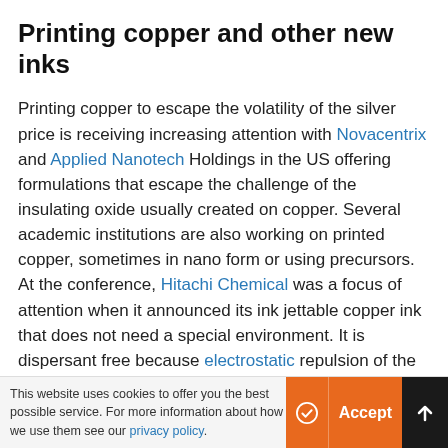Printing copper and other new inks
Printing copper to escape the volatility of the silver price is receiving increasing attention with Novacentrix and Applied Nanotech Holdings in the US offering formulations that escape the challenge of the insulating oxide usually created on copper. Several academic institutions are also working on printed copper, sometimes in nano form or using precursors. At the conference, Hitachi Chemical was a focus of attention when it announced its ink jettable copper ink that does not need a special environment. It is dispersant free because electrostatic repulsion of the nano particles of 10-100nm is employed. Remarkably, the resistivity of the resultant golden copper film is 6 ohm cm, near to bulk copper at 1.7 ohm cm. The dry
This website uses cookies to offer you the best possible service. For more information about how we use them see our privacy policy.